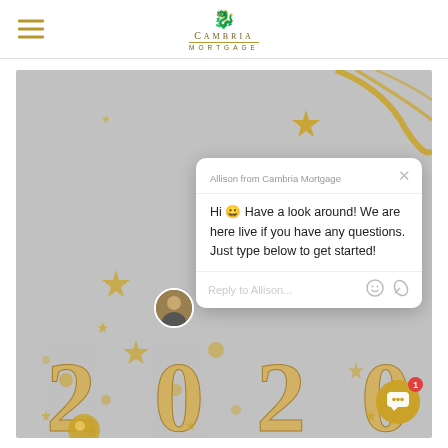Cambria Mortgage
[Figure (screenshot): New Year 2020 celebration background photo with gold stars, confetti, ribbons, and large gold '2020' numbers on grey background. Overlaid with a live chat popup from 'Allison from Cambria Mortgage' saying: 'Hi 😀 Have a look around! We are here live if you have any questions. Just type below to get started!' with a reply input box and chat widget button in lower right corner.]